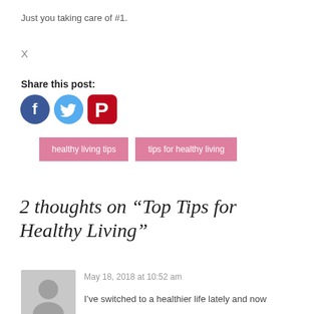Just you taking care of #1.
X
Share this post:
[Figure (illustration): Social media share icons: Facebook (blue circle with f), Twitter (light blue circle with bird), Pinterest (red rounded square with P)]
healthy living tips
tips for healthy living
2 thoughts on “Top Tips for Healthy Living”
May 18, 2018 at 10:52 am
[Figure (illustration): Grey circular avatar placeholder with silhouette of a person]
I’ve switched to a healthier life lately and now